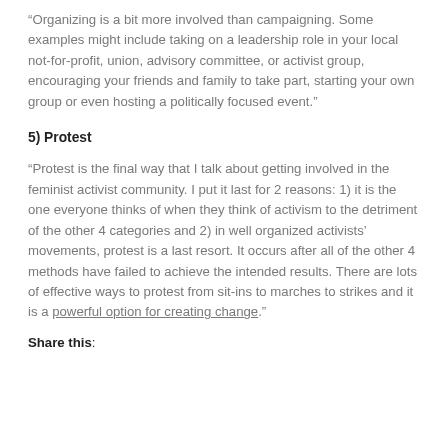“Organizing is a bit more involved than campaigning. Some examples might include taking on a leadership role in your local not-for-profit, union, advisory committee, or activist group, encouraging your friends and family to take part, starting your own group or even hosting a politically focused event.”
5) Protest
“Protest is the final way that I talk about getting involved in the feminist activist community. I put it last for 2 reasons: 1) it is the one everyone thinks of when they think of activism to the detriment of the other 4 categories and 2) in well organized activists’ movements, protest is a last resort. It occurs after all of the other 4 methods have failed to achieve the intended results. There are lots of effective ways to protest from sit-ins to marches to strikes and it is a powerful option for creating change.”
Share this: